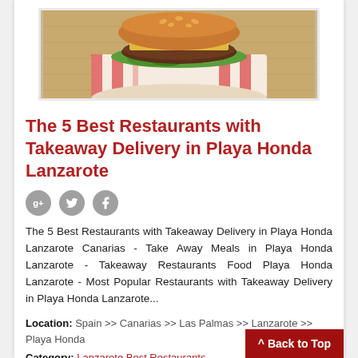[Figure (photo): Photo of a burger/sandwich on a red-striped cloth napkin on a wooden surface]
The 5 Best Restaurants with Takeaway Delivery in Playa Honda Lanzarote
[Figure (infographic): Three circular social sharing icons: Google+, Twitter, Facebook]
The 5 Best Restaurants with Takeaway Delivery in Playa Honda Lanzarote Canarias - Take Away Meals in Playa Honda Lanzarote - Takeaway Restaurants Food Playa Honda Lanzarote - Most Popular Restaurants with Takeaway Delivery in Playa Honda Lanzarote...
Location: Spain >> Canarias >> Las Palmas >> Lanzarote >> Playa Honda
Category: Lanzarote Best Restaurants